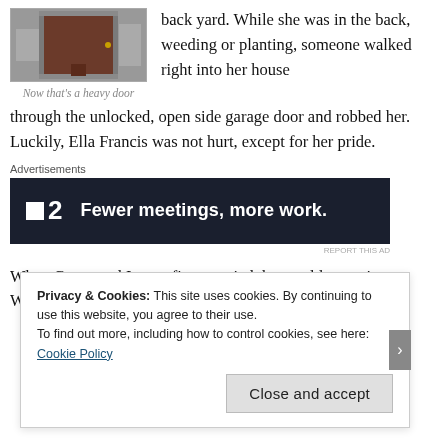[Figure (photo): Photo of a heavy stone or wooden door, partially visible]
Now that's a heavy door
back yard. While she was in the back, weeding or planting, someone walked right into her house through the unlocked, open side garage door and robbed her. Luckily, Ella Francis was not hurt, except for her pride.
Advertisements
[Figure (screenshot): Advertisement banner: Twist logo with text 'Fewer meetings, more work.']
When Corey and I were first married, he would sometimes
Privacy & Cookies: This site uses cookies. By continuing to use this website, you agree to their use.
To find out more, including how to control cookies, see here: Cookie Policy
Close and accept